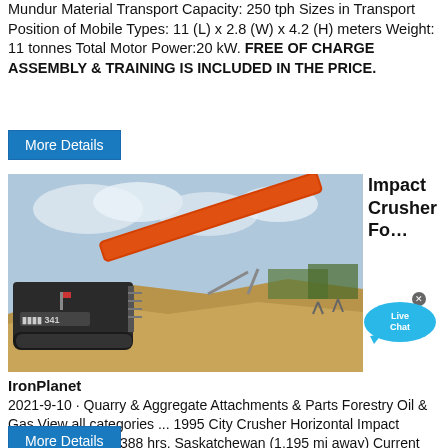Mundur Material Transport Capacity: 250 tph Sizes in Transport Position of Mobile Types: 11 (L) x 2.8 (W) x 4.2 (H) meters Weight: 11 tonnes Total Motor Power:20 kW. FREE OF CHARGE ASSEMBLY & TRAINING IS INCLUDED IN THE PRICE.
More Details
[Figure (photo): Photo of a large mobile impact crusher / screening machine (IronPlanet listing), orange and black, on a construction/quarry site with dirt mounds and blue sky]
Impact Crusher Fo...
IronPlanet
2021-9-10 · Quarry & Aggregate Attachments & Parts Forestry Oil & Gas View all categories ... 1995 City Crusher Horizontal Impact Crusher. Meter: 1,388 hrs. Saskatchewan (1,195 mi away) Current High Offer. CAD 11,000 (US $8,777) or Make Offer - Sep 10. Watching. Add to Watch List.
More Details